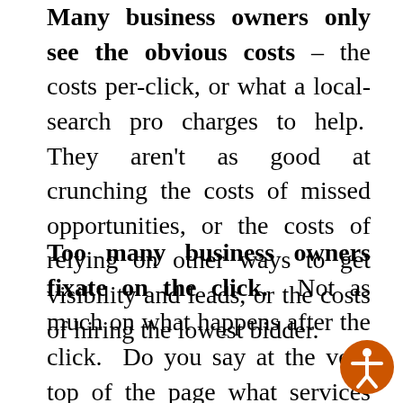Many business owners only see the obvious costs – the costs per-click, or what a local-search pro charges to help. They aren't as good at crunching the costs of missed opportunities, or the costs of relying on other ways to get visibility and leads, or the costs of hiring the lowest bidder.
Too many business owners fixate on the click. Not as much on what happens after the click. Do you say at the very top of the page what services you offer, and what you don't offer? Is it clear how potential customers can find the other pages they might want to see? Is it impossible to miss your contact info? they don't want to pick up the phone today,